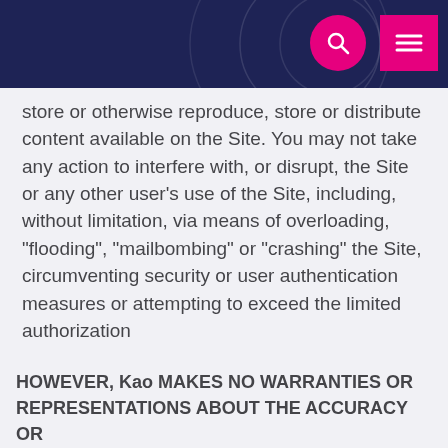store or otherwise reproduce, store or distribute content available on the Site. You may not take any action to interfere with, or disrupt, the Site or any other user's use of the Site, including, without limitation, via means of overloading, "flooding", "mailbombing" or "crashing" the Site, circumventing security or user authentication measures or attempting to exceed the limited authorization
HOWEVER, Kao MAKES NO WARRANTIES OR REPRESENTATIONS ABOUT THE ACCURACY OR
[Figure (screenshot): Cookie consent modal overlay with title 'WE USE COOKIES', body text explaining cookie usage, a PRIVACY POLICY link, and ACCEPT/DECLINE buttons in pink outline style.]